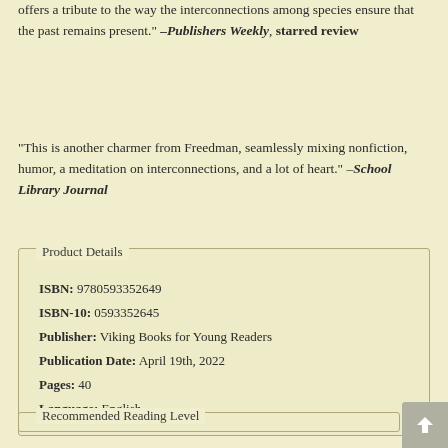offers a tribute to the way the interconnections among species ensure that the past remains present." –Publishers Weekly, starred review
"This is another charmer from Freedman, seamlessly mixing nonfiction, humor, a meditation on interconnections, and a lot of heart." –School Library Journal
Product Details
| ISBN: | 9780593352649 |
| ISBN-10: | 0593352645 |
| Publisher: | Viking Books for Young Readers |
| Publication Date: | April 19th, 2022 |
| Pages: | 40 |
| Language: | English |
Recommended Reading Level